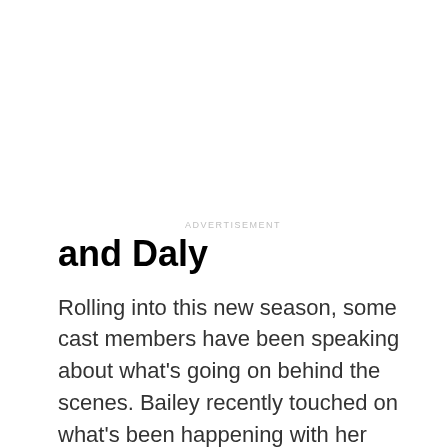ADVERTISEMENT
and Daly
Rolling into this new season, some cast members have been speaking about what's going on behind the scenes. Bailey recently touched on what's been happening with her friend, Kenya, and she sympathizes with her situation. She doesn't want to see Moore get divorced and told Bravo that she hopes the new parents can work things out.